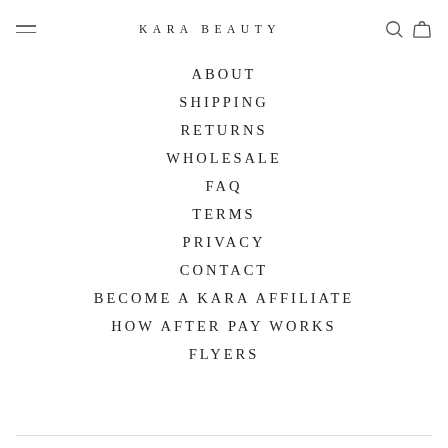KARA BEAUTY
ABOUT
SHIPPING
RETURNS
WHOLESALE
FAQ
TERMS
PRIVACY
CONTACT
BECOME A KARA AFFILIATE
HOW AFTER PAY WORKS
FLYERS